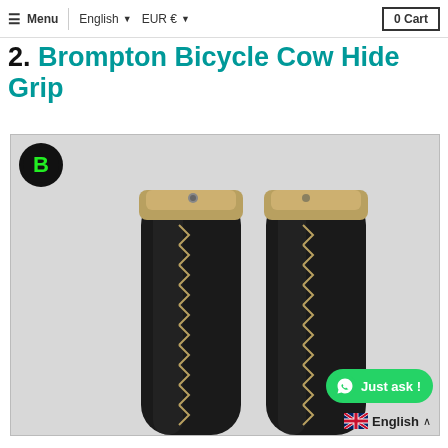≡ Menu  English ▾  EUR € ▾  0 Cart
2. Brompton Bicycle Cow Hide Grip
[Figure (photo): Two black leather bicycle handlebar grips with gold/brass metal end caps and golden zig-zag stitching running along the length. A circular brand logo is visible in the top-left corner of the image frame.]
Just ask !
English